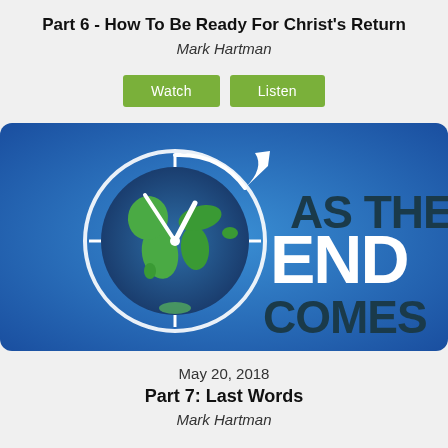Part 6 - How To Be Ready For Christ's Return
Mark Hartman
[Figure (other): Two green buttons labeled Watch and Listen]
[Figure (illustration): Promotional image with blue gradient background, a globe styled as a clock with white clock hands and circular arrow, and bold text reading AS THE END COMES]
May 20, 2018
Part 7: Last Words
Mark Hartman